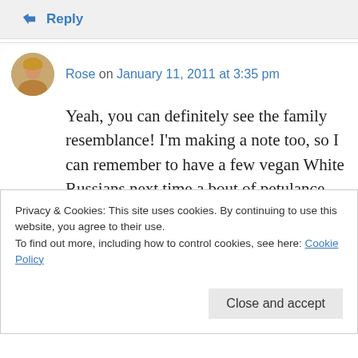↳ Reply
Rose on January 11, 2011 at 3:35 pm
Yeah, you can definitely see the family resemblance! I'm making a note too, so I can remember to have a few vegan White Russians next time a bout of petulance strikes. The desserts all sound great…and that cinnamon roll…it's been waay too long since I've had a
Privacy & Cookies: This site uses cookies. By continuing to use this website, you agree to their use.
To find out more, including how to control cookies, see here: Cookie Policy
Close and accept